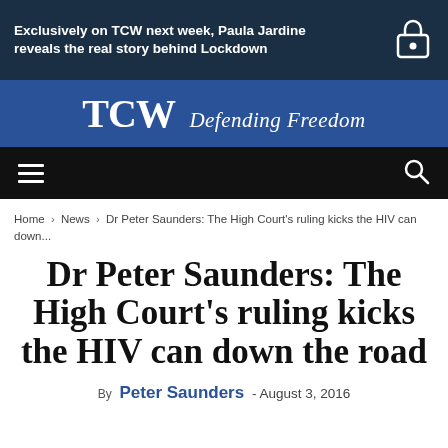Exclusively on TCW next week, Paula Jardine reveals the real story behind Lockdown
TCW Defending Freedom
Navigation bar with hamburger menu and search icon
Home › News › Dr Peter Saunders: The High Court's ruling kicks the HIV can down...
Dr Peter Saunders: The High Court's ruling kicks the HIV can down the road
By Peter Saunders - August 3, 2016